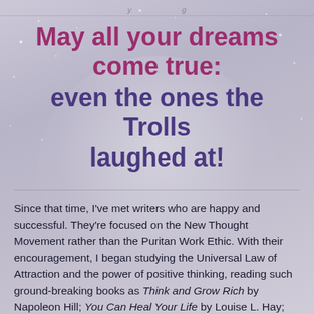y ... g ...
May all your dreams come true: even the ones the Trolls laughed at!
Since that time, I've met writers who are happy and successful. They're focused on the New Thought Movement rather than the Puritan Work Ethic. With their encouragement, I began studying the Universal Law of Attraction and the power of positive thinking, reading such ground-breaking books as Think and Grow Rich by Napoleon Hill; You Can Heal Your Life by Louise L. Hay; Creative Visualization by Shakti Gawain, and You Can't Afford the Luxury of a Negative Thought by Peter McWilliams. (See links